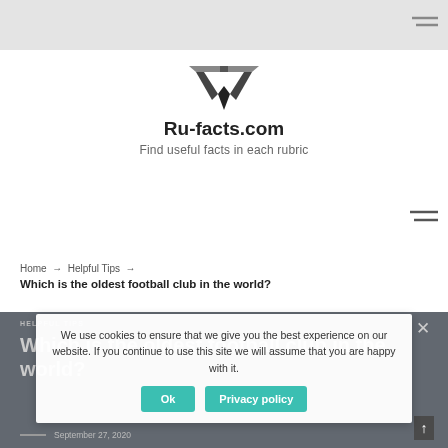Ru-facts.com — Find useful facts in each rubric
[Figure (logo): Ru-facts.com logo: stylized chevron/arrow mark above site name]
Ru-facts.com
Find useful facts in each rubric
Home → Helpful Tips → Which is the oldest football club in the world?
HELPFUL TIPS
Which is the oldest football club in the world?
We use cookies to ensure that we give you the best experience on our website. If you continue to use this site we will assume that you are happy with it.
Ok   Privacy policy
September 27, 2020